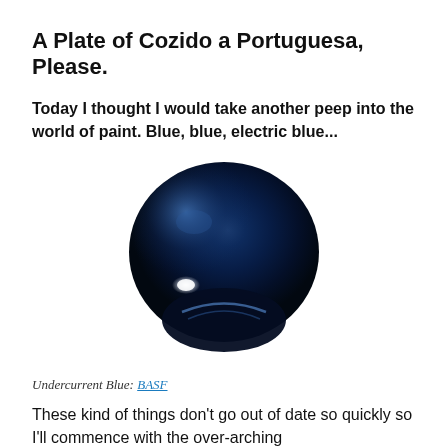A Plate of Cozido a Portuguesa, Please.
Today I thought I would take another peep into the world of paint. Blue, blue, electric blue...
[Figure (photo): A glossy dark navy blue spherical paint droplet or ball, highly reflective with a bright white specular highlight on the lower left, and a dark curved reflection at the bottom, set against a white background.]
Undercurrent Blue: BASF
These kind of things don't go out of date so quickly so I'll commence with the over-arching